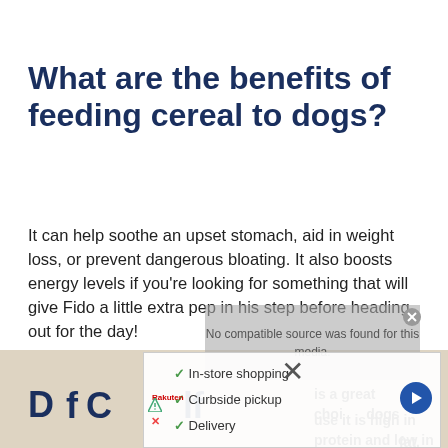What are the benefits of feeding cereal to dogs?
It can help soothe an upset stomach, aid in weight loss, or prevent dangerous bloating. It also boosts energy levels if you're looking for something that will give Fido a little extra pep in his step before heading out for the day!
[Figure (other): Video overlay panel showing 'No compatible source was found for this media.' with a close button]
D...f C...lf... (partially visible, cut off by overlay)
[Figure (infographic): Advertisement panel overlay showing Rakuten logo and a checklist: In-store shopping, Curbside pickup, Delivery; with navigation arrow button]
is a great choice for dogs because it is high in protein and low in fat.